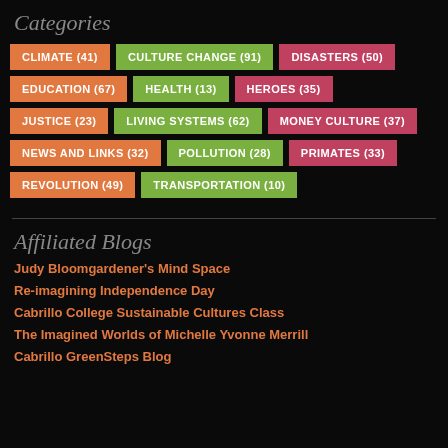Categories
CLIMATE (41)
CULTURE CHANGE (91)
DISASTERS (50)
EDUCATION (67)
HEALTH (13)
HEROES (35)
JUSTICE (23)
LIVING SYSTEMS (62)
MONEY CULTURE (37)
NEWS AND LINKS (32)
POLLUTION (28)
PRIMATES (33)
REVOLUTION (49)
TRANSPORTATION (10)
Affiliated Blogs
Judy Bloomgardener's Mind Space
Re-imagining Independence Day
Cabrillo College Sustainable Cultures Class
The Imagined Worlds of Michelle Yvonne Merrill
Cabrillo GreenSteps Blog